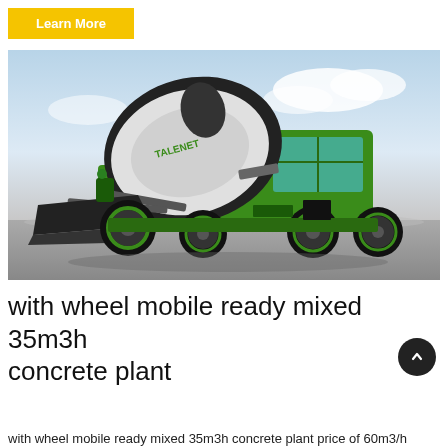Learn More
[Figure (photo): Green TALENET self-loading mobile concrete mixer truck with black drum and front loader bucket, on a grey surface with cloudy sky background]
with wheel mobile ready mixed 35m3h concrete plant
with wheel mobile ready mixed 35m3h concrete plant price of 60m3/h